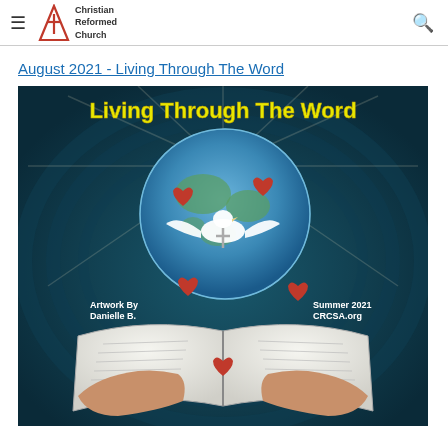Christian Reformed Church
August 2021 - Living Through The Word
[Figure (illustration): Artwork illustration titled 'Living Through The Word' showing hands holding an open Bible with a globe rising from it, a white dove carrying a cross, red hearts, and radiating light on a dark teal background. Text reads 'Artwork By Danielle B.' and 'Summer 2021 CRCSA.org']